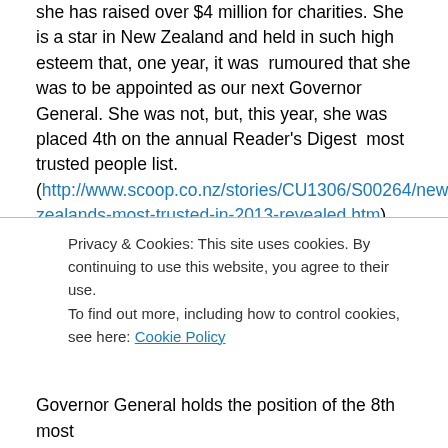she has raised over $4 million for charities. She is a star in New Zealand and held in such high esteem that, one year, it was rumoured that she was to be appointed as our next Governor General. She was not, but, this year, she was placed 4th on the annual Reader's Digest most trusted people list. (http://www.scoop.co.nz/stories/CU1306/S00264/new-zealands-most-trusted-in-2013-revealed.htm)
At the top of the most trusted list is Sir John Kirwan, former All Black, coach, and depression awareness spokesperson and advocate. Next comes Willie Aniata
Privacy & Cookies: This site uses cookies. By continuing to use this website, you agree to their use. To find out more, including how to control cookies, see here: Cookie Policy
Governor General holds the position of the 8th most